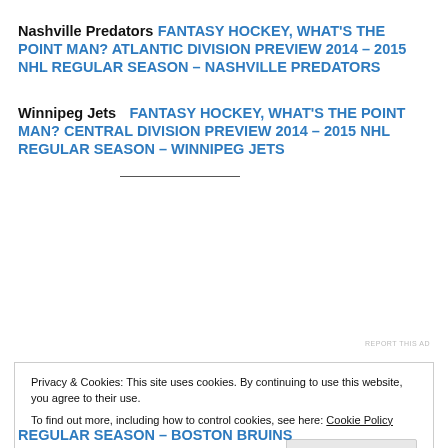Nashville Predators FANTASY HOCKEY, WHAT'S THE POINT MAN? ATLANTIC DIVISION PREVIEW 2014 – 2015 NHL REGULAR SEASON – NASHVILLE PREDATORS
Winnipeg Jets FANTASY HOCKEY, WHAT'S THE POINT MAN? CENTRAL DIVISION PREVIEW 2014 – 2015 NHL REGULAR SEASON – WINNIPEG JETS
REPORT THIS AD
Privacy & Cookies: This site uses cookies. By continuing to use this website, you agree to their use. To find out more, including how to control cookies, see here: Cookie Policy Close and accept
REGULAR SEASON – BOSTON BRUINS